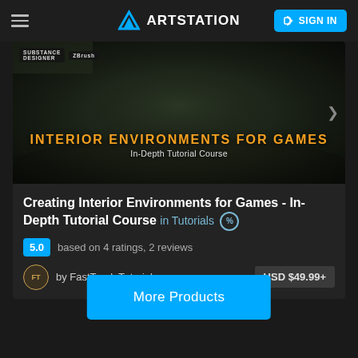ArtStation — SIGN IN
[Figure (screenshot): Interior Environments for Games tutorial course banner image showing a dark ruined interior environment with plants and debris, with orange text overlay 'INTERIOR ENVIRONMENTS FOR GAMES' and subtitle 'In-Depth Tutorial Course'. Substance Designer and ZBrush logos visible top-left.]
Creating Interior Environments for Games - In-Depth Tutorial Course in Tutorials
5.0 based on 4 ratings, 2 reviews
by FastTrack Tutorials   USD $49.99+
More Products